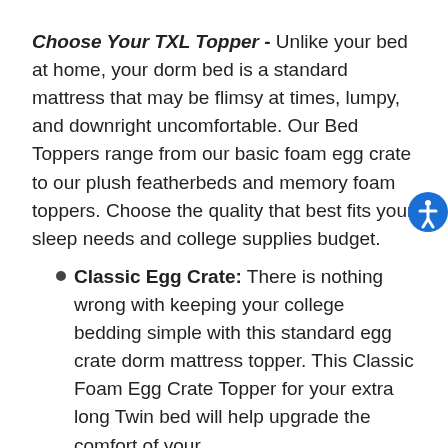Choose Your TXL Topper - Unlike your bed at home, your dorm bed is a standard mattress that may be flimsy at times, lumpy, and downright uncomfortable. Our Bed Toppers range from our basic foam egg crate to our plush featherbeds and memory foam toppers. Choose the quality that best fits your sleep needs and college supplies budget.
Classic Egg Crate: There is nothing wrong with keeping your college bedding simple with this standard egg crate dorm mattress topper. This Classic Foam Egg Crate Topper for your extra long Twin bed will help upgrade the comfort of your